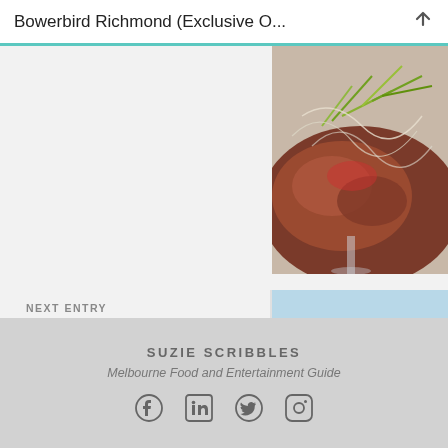Bowerbird Richmond (Exclusive O...
[Figure (photo): Food photo — meat dish with green shoots, partially visible at top right]
NEXT ENTRY
Focus Cafe, Balwyn
[Figure (photo): Food photo — purple berry ice cream scoops with strawberries and blueberries on a blue plate]
SUZIE SCRIBBLES
Melbourne Food and Entertainment Guide
[Figure (illustration): Social media icons row: Facebook, LinkedIn, Twitter, Instagram]